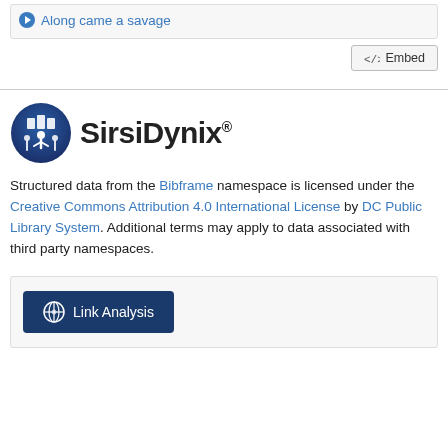Along came a savage
[Figure (screenshot): Embed button with code icon]
[Figure (logo): SirsiDynix logo with icon and text]
Structured data from the Bibframe namespace is licensed under the Creative Commons Attribution 4.0 International License by DC Public Library System. Additional terms may apply to data associated with third party namespaces.
[Figure (screenshot): Link Analysis button with globe/network icon]